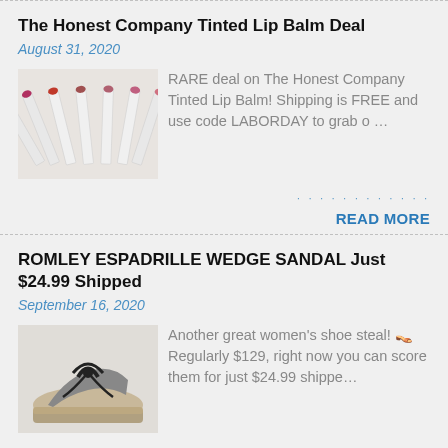The Honest Company Tinted Lip Balm Deal
August 31, 2020
[Figure (photo): Multiple Honest Company tinted lip balm sticks arranged in a fan pattern]
RARE deal on The Honest Company Tinted Lip Balm! Shipping is FREE and use code LABORDAY to grab o …
READ MORE
ROMLEY ESPADRILLE WEDGE SANDAL Just $24.99 Shipped
September 16, 2020
[Figure (photo): Women's espadrille wedge sandal with black bow]
Another great women's shoe steal! 👡 Regularly $129, right now you can score them for just $24.99 shippe…